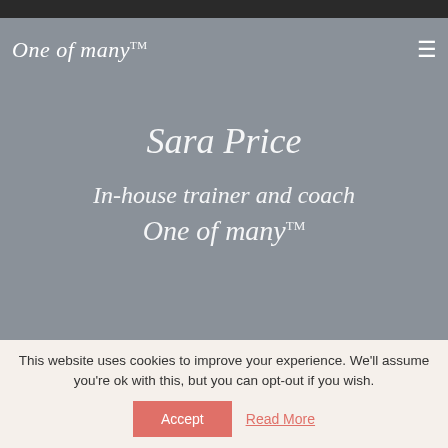One of many™
Sara Price
In-house trainer and coach
One of many™
This website uses cookies to improve your experience. We'll assume you're ok with this, but you can opt-out if you wish.
Accept
Read More